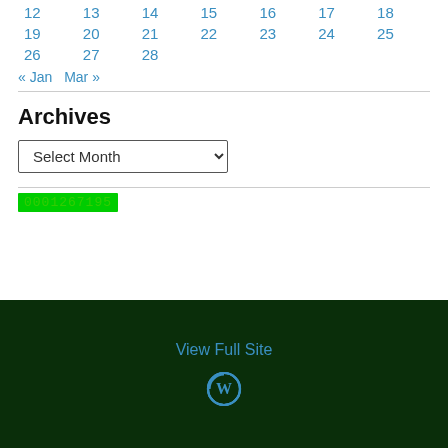| 12 | 13 | 14 | 15 | 16 | 17 | 18 |
| 19 | 20 | 21 | 22 | 23 | 24 | 25 |
| 26 | 27 | 28 |  |  |  |  |
« Jan   Mar »
Archives
Select Month (dropdown)
0001267195
View Full Site